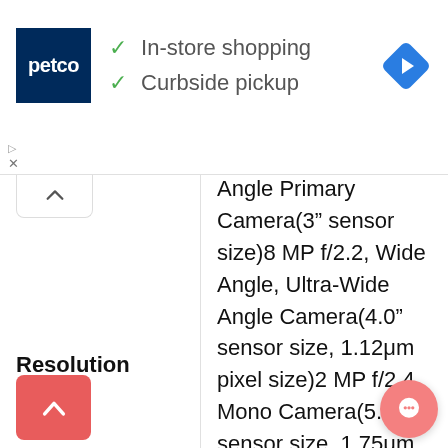[Figure (screenshot): Petco advertisement banner with logo, checkmarks for In-store shopping and Curbside pickup, and a navigation arrow icon]
Angle Primary Camera(3" sensor size)8 MP f/2.2, Wide Angle, Ultra-Wide Angle Camera(4.0" sensor size, 1.12μm pixel size)2 MP f/2.4 Mono Camera(5.0" sensor size, 1.75μm pixel size)2 MP f/2.4 Mono Camera(5.0" sensor size, 1.75μm pixel size)2
Resolution